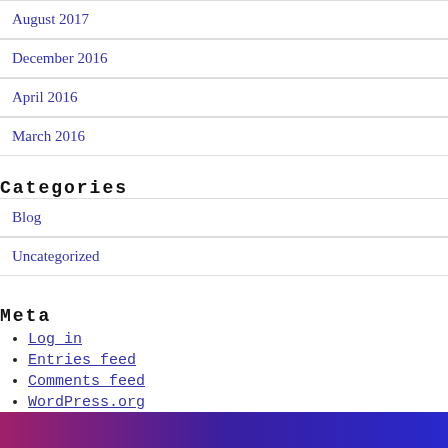August 2017
December 2016
April 2016
March 2016
Categories
Blog
Uncategorized
Meta
Log in
Entries feed
Comments feed
WordPress.org